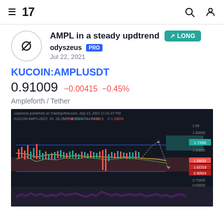TradingView navigation header with hamburger menu, TV logo, search icon, and user icon
AMPL in a steady updtrend
odyszeus PRO
Jul 22, 2021
KUCOIN:AMPLUSDT
0.91009  −0.00415  −0.45%
Ampleforth / Tether
[Figure (screenshot): TradingView candlestick chart for KUCOIN:AMPLUSDT on 1D timeframe showing a steady uptrend with blue horizontal support/resistance lines, green moving average, a projected price path drawn with arrows showing a dip then recovery upward into a teal target zone around 1.7298, red shaded zone around 1.28-1.00, dark background with price labels on the right axis and volume oscillator at the bottom]